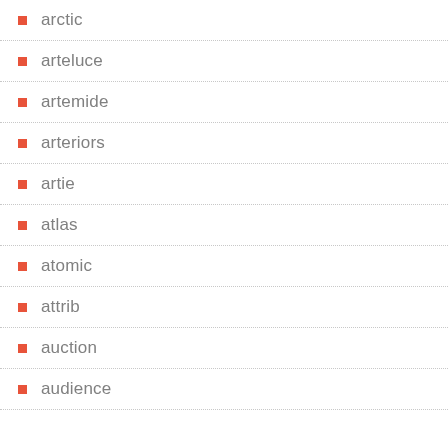arctic
arteluce
artemide
arteriors
artie
atlas
atomic
attrib
auction
audience